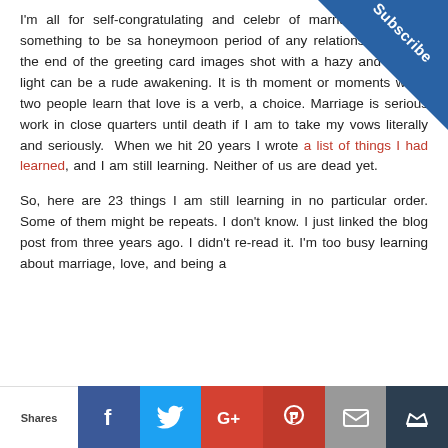I'm all for self-congratulating and celebrating of marriage. There is something to be said honeymoon period of any relationship, but in the end of the greeting card images shot with a hazy and perfect light can be a rude awakening. It is the moment or moments when two people learn that love is a verb, a choice. Marriage is serious work in close quarters until death if I am to take my vows literally and seriously. When we hit 20 years I wrote a list of things I had learned, and I am still learning. Neither of us are dead yet.

So, here are 23 things I am still learning in no particular order. Some of them might be repeats. I don't know. I just linked the blog post from three years ago. I didn't re-read it. I'm too busy learning about marriage, love, and being a
[Figure (infographic): Subscribe corner banner — blue triangle in top-right corner with white bold text 'Subscribe' rotated 45 degrees]
[Figure (infographic): Social sharing bar at bottom: Shares label, Facebook (blue), Twitter (light blue), Google+ (red-orange), Pinterest (red), Email (grey), crown icon (dark)]